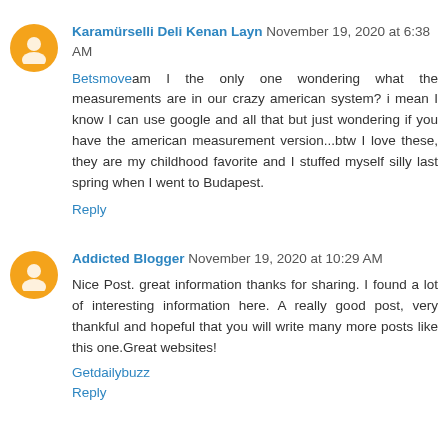Karamürselli Deli Kenan Layn November 19, 2020 at 6:38 AM
Betsmoveam I the only one wondering what the measurements are in our crazy american system? i mean I know I can use google and all that but just wondering if you have the american measurement version...btw I love these, they are my childhood favorite and I stuffed myself silly last spring when I went to Budapest.
Reply
Addicted Blogger November 19, 2020 at 10:29 AM
Nice Post. great information thanks for sharing. I found a lot of interesting information here. A really good post, very thankful and hopeful that you will write many more posts like this one.Great websites!
Getdailybuzz
Reply